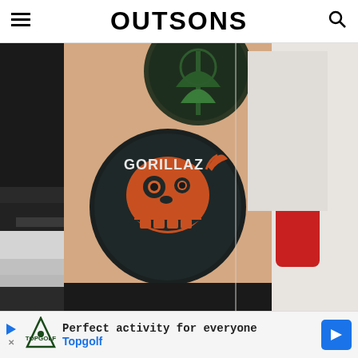OUTSONS
[Figure (photo): Close-up photo of a person's ankle/leg showing tattoos. The main visible tattoo is a circular Gorillaz band logo tattoo featuring a skull character in orange/red on a dark background with the text 'GORILLAZ'. Above it, partially visible, is another circular tattoo with a tree design. To the right, partially cut off, is another tattoo in red. The person is wearing black shoes/sneakers.]
[Figure (photo): Advertisement banner for Topgolf. Shows Topgolf logo (golf club with shield design), text 'Perfect activity for everyone' in monospace font, 'Topgolf' in blue text, and a blue navigation arrow icon on the right.]